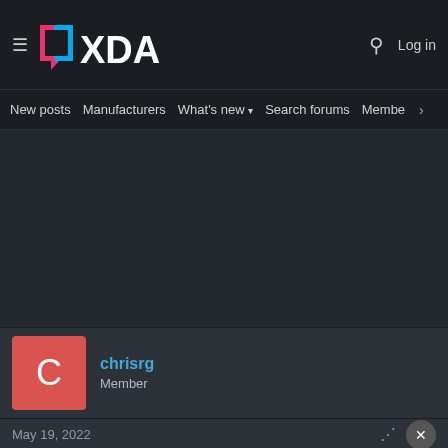XDA Developers — hamburger menu, logo, search, Log in
New posts   Manufacturers   What's new ▾   Search forums   Membe   >
chrisrg
Member
May 19, 2022
Skew...
[Figure (screenshot): Advertisement: GET THE DISNEY BUNDLE — hulu, Disney+, ESPN+. Incl. Hulu (ad-supported) or Hulu (No Ads). Access content from each service separately. ©2021 Disney and its related entities.]
VoLTE...
VoWiFi is currently removed and not supported.